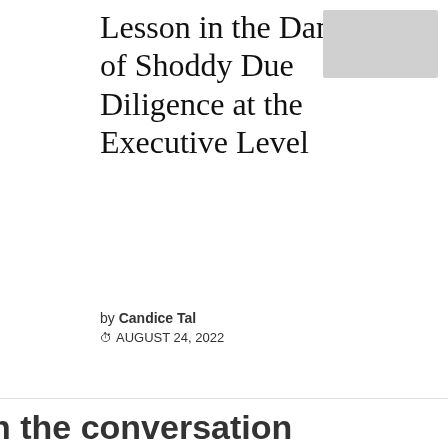Lesson in the Danger of Shoddy Due Diligence at the Executive Level
by Candice Tal
⏱ AUGUST 24, 2022
[Figure (other): Grey placeholder image box in top right corner]
n the conversation
e week's top news, opinion and events -- right to your
[Figure (infographic): Dark navy blue 'Want more?' banner with newsletter thumbnail image and close X button]
[Figure (infographic): Social sharing bar with Facebook, Twitter, LinkedIn, Print, Email, and Share buttons]